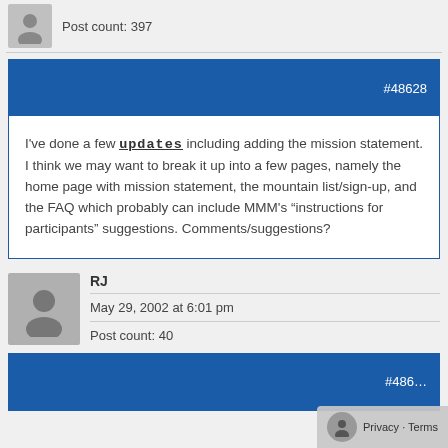Post count: 397
#48628
I've done a few updates including adding the mission statement. I think we may want to break it up into a few pages, namely the home page with mission statement, the mountain list/sign-up, and the FAQ which probably can include MMM's “instructions for participants” suggestions. Comments/suggestions?
RJ
May 29, 2002 at 6:01 pm
Post count: 40
#4862…